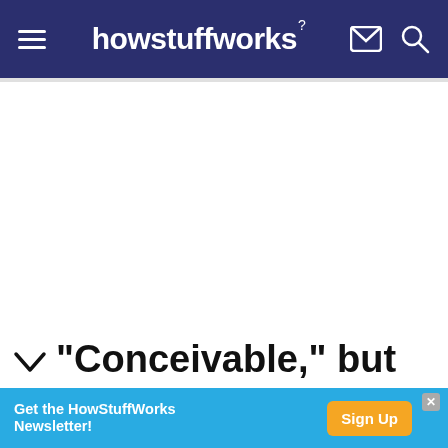howstuffworks
[Figure (other): White blank advertisement area]
"Conceivable," but "utterly impractical"
Get the HowStuffWorks Newsletter! Sign Up